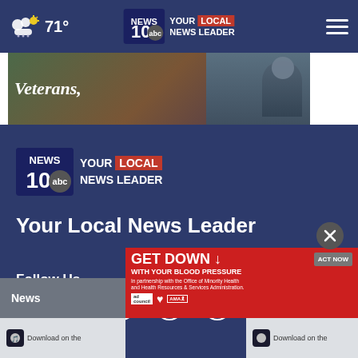71° NEWS 10 ABC YOUR LOCAL NEWS LEADER
[Figure (screenshot): Ad banner with text 'Veterans,' overlaid on an image of a person]
[Figure (logo): NEWS 10 ABC YOUR LOCAL NEWS LEADER logo]
Your Local News Leader
Follow Us
[Figure (infographic): Social media icons: Facebook, Twitter, Instagram, RSS, Email]
News
[Figure (screenshot): GET DOWN WITH YOUR BLOOD PRESSURE ad with ACT NOW button]
Download on the